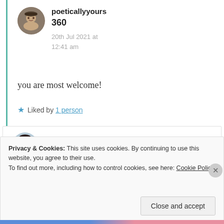poeticallyyours
360
20th Jul 2021 at 12:41 am
you are most welcome!
Liked by 1 person
Lawrence Morra
Privacy & Cookies: This site uses cookies. By continuing to use this website, you agree to their use. To find out more, including how to control cookies, see here: Cookie Policy
Close and accept